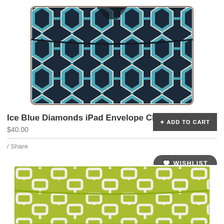[Figure (photo): Ice Blue Diamonds iPad Envelope Clutch — a fabric clutch with a navy and teal diamond/geometric ikat pattern, shown closed with a flap on top, on a white background.]
Ice Blue Diamonds iPad Envelope Clutch
$40.00
+ ADD TO CART
/ Share
WISHLIST
[Figure (photo): A green/chartreuse clutch with a white geometric lattice/chain-link pattern, shown from the front on a white background.]